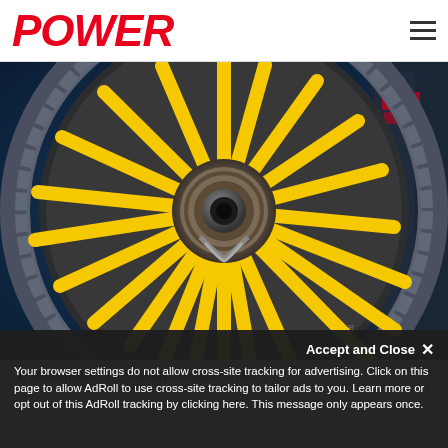POWER
[Figure (photo): Close-up photograph of a large yellow 800-MW Alstom turbine wheel with radiating yellow blades/spokes set against a blue industrial background]
1. Mammoth. The 800-MW Alstom turbine (
Your browser settings do not allow cross-site tracking for advertising. Click on this page to allow AdRoll to use cross-site tracking to tailor ads to you. Learn more or opt out of this AdRoll tracking by clicking here. This message only appears once.